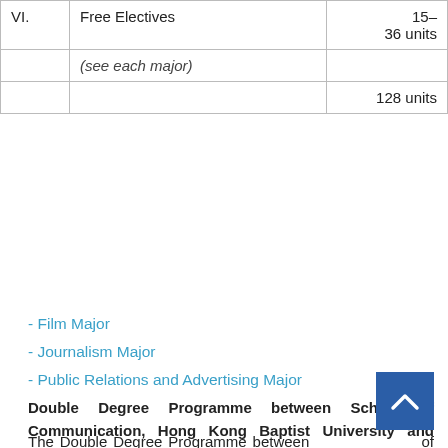|  |  |  |
| --- | --- | --- |
| VI. | Free Electives | 15–
36 units |
|  | (see each major) |  |
|  |  | 128 units |
- Film Major
- Journalism Major
- Public Relations and Advertising Major
Double Degree Programme between School of Communication, Hong Kong Baptist University and Faculty of Humanities and Social Sciences, The University of Queensland
The Double Degree Programme between School of Communication, Hong Kong Baptist University (HKBU) and Faculty of Humanities and Social Sciences, The